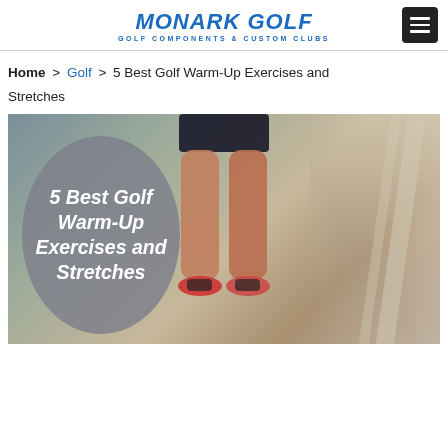MONARK GOLF — GOLF COMPONENTS & CUSTOM CLUBS
Home > Golf > 5 Best Golf Warm-Up Exercises and Stretches
[Figure (photo): Photo of a person jumping or stretching legs in an indoor gym/corridor setting, with a grey rounded badge overlay reading '5 Best Golf Warm-Up Exercises and Stretches' in bold italic white text on the left side of the image.]